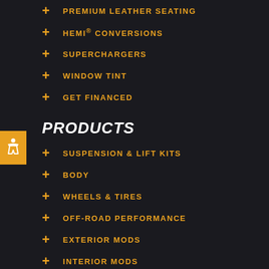PREMIUM LEATHER SEATING
HEMI® CONVERSIONS
SUPERCHARGERS
WINDOW TINT
GET FINANCED
PRODUCTS
SUSPENSION & LIFT KITS
BODY
WHEELS & TIRES
OFF-ROAD PERFORMANCE
EXTERIOR MODS
INTERIOR MODS
WINCHES
CUSTOM LIGHTING